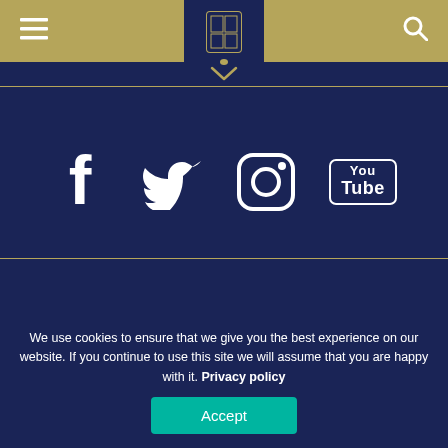University navigation header with menu, logo, and search icons
[Figure (infographic): Social media icons: Facebook, Twitter, Instagram, YouTube on dark navy background]
[Figure (logo): British Gas / Centrica logo on left, Truro logo with group icon on right]
We use cookies to ensure that we give you the best experience on our website. If you continue to use this site we will assume that you are happy with it. Privacy policy
Accept